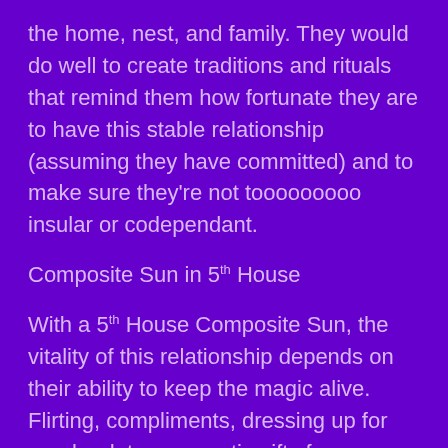the home, nest, and family. They would do well to create traditions and rituals that remind them how fortunate they are to have this stable relationship (assuming they have committed) and to make sure they're not tooooooooo insular or codependant.
Composite Sun in 5th House
With a 5th House Composite Sun, the vitality of this relationship depends on their ability to keep the magic alive. Flirting, compliments, dressing up for regular dates, romantic gifts for no reason, if this is a romantic relationship. This doesn't mean that reality will destroy the connection. It simply means that the injection of life force for this union is that of new lovers or new friends if this is a family or platonic relationship. What would new lovers do? What would they do if they were just getting to know each other or